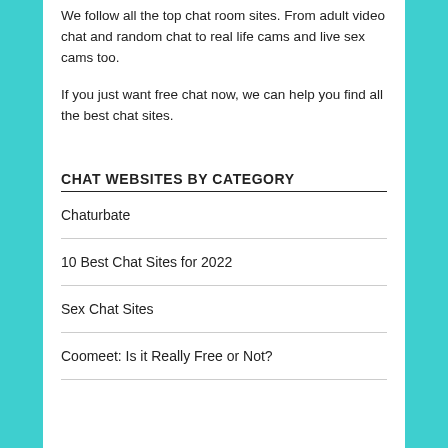We follow all the top chat room sites. From adult video chat and random chat to real life cams and live sex cams too.
If you just want free chat now, we can help you find all the best chat sites.
CHAT WEBSITES BY CATEGORY
Chaturbate
10 Best Chat Sites for 2022
Sex Chat Sites
Coomeet: Is it Really Free or Not?